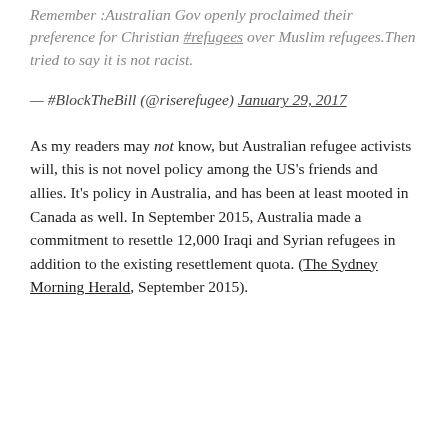Remember :Australian Gov openly proclaimed their preference for Christian #refugees over Muslim refugees.Then tried to say it is not racist.
— #BlockTheBill (@riserefugee) January 29, 2017
As my readers may not know, but Australian refugee activists will, this is not novel policy among the US's friends and allies. It's policy in Australia, and has been at least mooted in Canada as well. In September 2015, Australia made a commitment to resettle 12,000 Iraqi and Syrian refugees in addition to the existing resettlement quota. (The Sydney Morning Herald, September 2015).